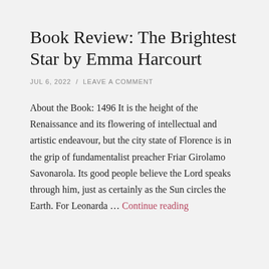Book Review: The Brightest Star by Emma Harcourt
JUL 6, 2022 / LEAVE A COMMENT
About the Book: 1496 It is the height of the Renaissance and its flowering of intellectual and artistic endeavour, but the city state of Florence is in the grip of fundamentalist preacher Friar Girolamo Savonarola. Its good people believe the Lord speaks through him, just as certainly as the Sun circles the Earth. For Leonarda … Continue reading